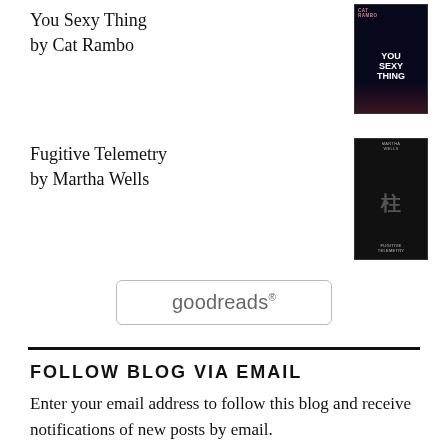You Sexy Thing
by Cat Rambo
[Figure (illustration): Book cover for You Sexy Thing by Cat Rambo, dark space-themed cover]
Fugitive Telemetry
by Martha Wells
[Figure (illustration): Book cover for Fugitive Telemetry by Martha Wells, dark cover with figure]
[Figure (logo): Goodreads button with rounded rectangle border and goodreads text]
FOLLOW BLOG VIA EMAIL
Enter your email address to follow this blog and receive notifications of new posts by email.